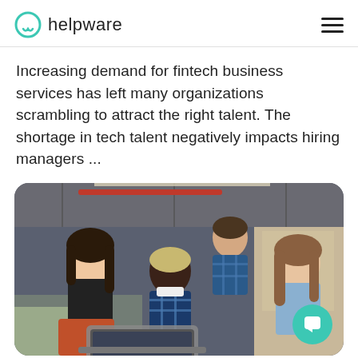helpware
Increasing demand for fintech business services has left many organizations scrambling to attract the right talent. The shortage in tech talent negatively impacts hiring managers ...
[Figure (photo): Four young people of diverse backgrounds gathered around a laptop, working together in a modern office/lounge setting. One Asian woman, one Black man, one white woman, and one man standing behind.]